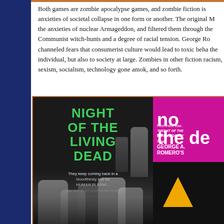Both games are zombie apocalypse games, and zombie fiction is anxieties of societal collapse in one form or another. The original M the anxieties of nuclear Armageddon, and filtered them through the Communist witch-hunts and a degree of racial tension. George Ro channeled fears that consumerist culture would lead to toxic beha the individual, but also to society at large. Zombies in other fiction racism, sexism, socialism, technology gone amok, and so forth.
[Figure (photo): Two movie posters side by side. Left: 'Night of the Living Dead' poster in black and white with green title text, showing zombie figures and tagline 'They keep coming back in a bloodthirsty lust for HUMAN FLESH!... Pits the dead against the living in a struggle for survival!'. Right: Partially visible 'Dawn of the Dead' poster with pink/magenta background, showing 'no the de...' (partial title) and text 'First there was NIGHT OF THE LIVING DEAD Now GEORGE A. ROMERO'S' with black bottom section showing a triangle symbol.]